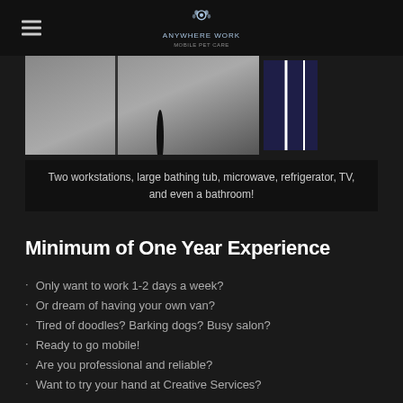Anywhere Work Mobile Pet Care (logo)
[Figure (photo): Interior photo of mobile grooming van showing workstation surface and equipment with blue and white elements]
Two workstations, large bathing tub, microwave, refrigerator, TV, and even a bathroom!
Minimum of One Year Experience
Only want to work 1-2 days a week?
Or dream of having your own van?
Tired of doodles? Barking dogs? Busy salon?
Ready to go mobile!
Are you professional and reliable?
Want to try your hand at Creative Services?